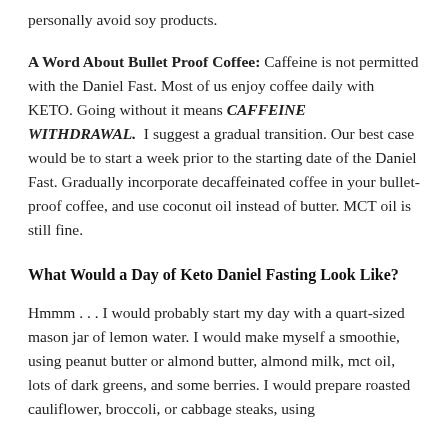personally avoid soy products.
A Word About Bullet Proof Coffee: Caffeine is not permitted with the Daniel Fast. Most of us enjoy coffee daily with KETO. Going without it means CAFFEINE WITHDRAWAL. I suggest a gradual transition. Our best case would be to start a week prior to the starting date of the Daniel Fast. Gradually incorporate decaffeinated coffee in your bullet-proof coffee, and use coconut oil instead of butter. MCT oil is still fine.
What Would a Day of Keto Daniel Fasting Look Like?
Hmmm . . . I would probably start my day with a quart-sized mason jar of lemon water. I would make myself a smoothie, using peanut butter or almond butter, almond milk, mct oil, lots of dark greens, and some berries. I would prepare roasted cauliflower, broccoli, or cabbage steaks, using